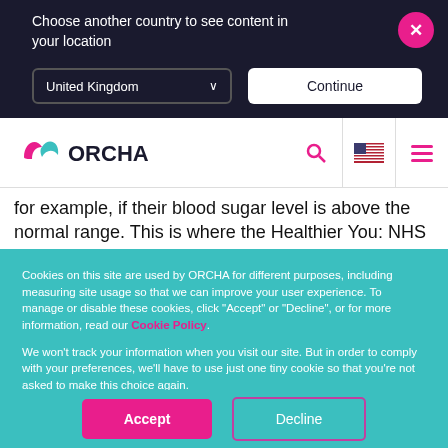Choose another country to see content in your location
United Kingdom
Continue
[Figure (logo): ORCHA logo with pink and teal leaf icons and ORCHA text in navy]
for example, if their blood sugar level is above the normal range.  This is where the Healthier You: NHS Diabetes
Cookies on this site are used by ORCHA for different purposes, including measuring site usage so that we can improve your user experience. To manage or disable these cookies, click "Accept" or "Decline", or for more information, read our Cookie Policy.

We won't track your information when you visit our site. But in order to comply with your preferences, we'll have to use just one tiny cookie so that you're not asked to make this choice again.
Accept
Decline